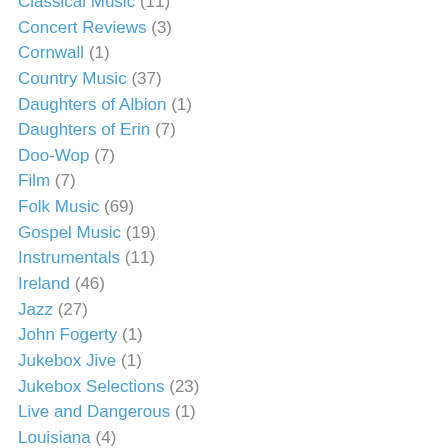Classical Music (11)
Concert Reviews (3)
Cornwall (1)
Country Music (37)
Daughters of Albion (1)
Daughters of Erin (7)
Doo-Wop (7)
Film (7)
Folk Music (69)
Gospel Music (19)
Instrumentals (11)
Ireland (46)
Jazz (27)
John Fogerty (1)
Jukebox Jive (1)
Jukebox Selections (23)
Live and Dangerous (1)
Louisiana (4)
Merseybeat (2)
Mná na hÉireann (5)